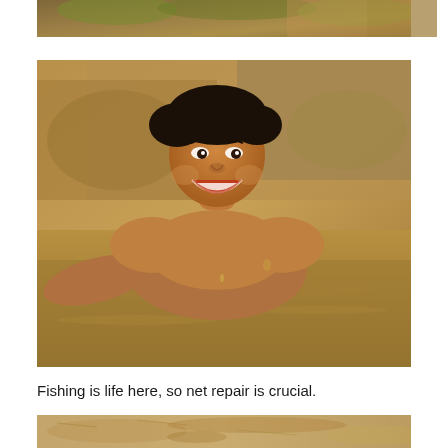[Figure (photo): Partial top photo showing vegetation/plants in brown and orange tones, cropped at bottom of frame.]
[Figure (photo): A smiling young Southeast Asian man swimming in muddy brownish water, with an earthen bank visible in the background.]
Fishing is life here, so net repair is crucial.
[Figure (photo): Bottom partial photo showing sandy/muddy earth terrain.]